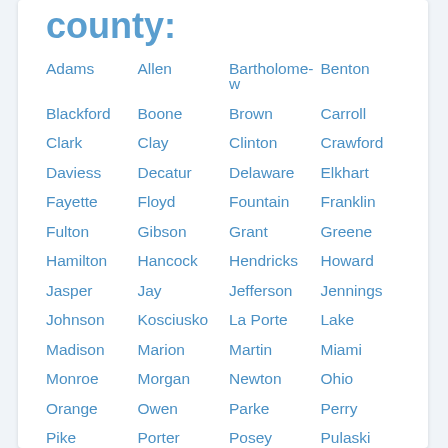county:
Adams
Allen
Bartholomew
Benton
Blackford
Boone
Brown
Carroll
Clark
Clay
Clinton
Crawford
Daviess
Decatur
Delaware
Elkhart
Fayette
Floyd
Fountain
Franklin
Fulton
Gibson
Grant
Greene
Hamilton
Hancock
Hendricks
Howard
Jasper
Jay
Jefferson
Jennings
Johnson
Kosciusko
La Porte
Lake
Madison
Marion
Martin
Miami
Monroe
Morgan
Newton
Ohio
Orange
Owen
Parke
Perry
Pike
Porter
Posey
Pulaski
Putnam
Randolph
Ripley
Rush
Scott
Spencer
St Joseph
Starke
Steuben
Sullivan
Switzerland
Tippecano